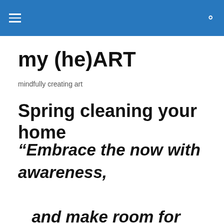my (he)ART — mindfully creating art (site header bar with hamburger menu and search icon)
my (he)ART
mindfully creating art
Spring cleaning your home
“Embrace the now with awareness, and make room for new, uplifting intentions. Notice the birds singing,